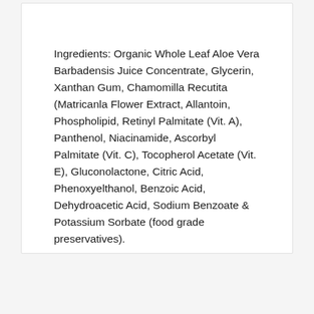Ingredients: Organic Whole Leaf Aloe Vera Barbadensis Juice Concentrate, Glycerin, Xanthan Gum, Chamomilla Recutita (Matricanla Flower Extract, Allantoin, Phospholipid, Retinyl Palmitate (Vit. A), Panthenol, Niacinamide, Ascorbyl Palmitate (Vit. C), Tocopherol Acetate (Vit. E), Gluconolactone, Citric Acid, Phenoxyelthanol, Benzoic Acid, Dehydroacetic Acid, Sodium Benzoate & Potassium Sorbate (food grade preservatives).